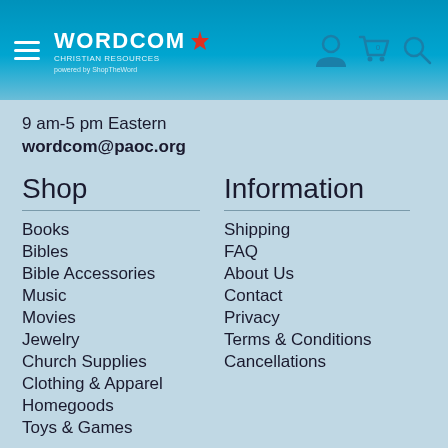[Figure (logo): Wordcom Christian Resources logo with maple leaf and hamburger menu icon, plus ShopTheWord powered-by text]
[Figure (other): User account icon, shopping cart with 0 items, and search icon in teal/blue]
9 am-5 pm Eastern
wordcom@paoc.org
Shop
Books
Bibles
Bible Accessories
Music
Movies
Jewelry
Church Supplies
Clothing & Apparel
Homegoods
Toys & Games
Information
Shipping
FAQ
About Us
Contact
Privacy
Terms & Conditions
Cancellations
My Account